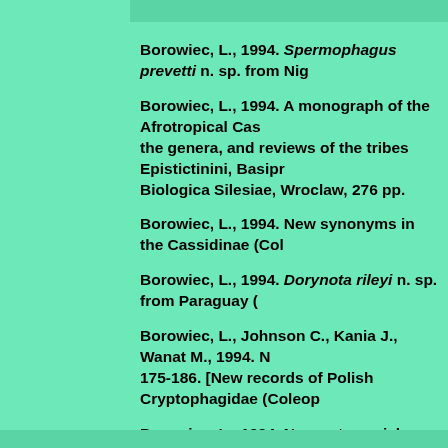Borowiec, L., 1994. Spermophagus prevetti n. sp. from Nig...
Borowiec, L., 1994. A monograph of the Afrotropical Cas... the genera, and reviews of the tribes Epistictinini, Basipr... Biologica Silesiae, Wroclaw, 276 pp.
Borowiec, L., 1994. New synonyms in the Cassidinae (Col...
Borowiec, L., 1994. Dorynota rileyi n. sp. from Paraguay (...
Borowiec, L., Johnson C., Kania J., Wanat M., 1994. N... 175-186. [New records of Polish Cryptophagidae (Coleop...
Borowiec, L., 1994. Nowe stanowiska trzech rzadkich ga... 227. [New records of three rare beetle species (Coleoptera...
Borowiec, L., 1994. Nowe stanowiska Phalacrus brisouti R... [New records of Phalacrus brisouti Rye and Ph. dieckman...
Borowiec, L., Kania J., 1994. Chrzaszcze (Coleoptera) no... the Rast Sudetes]